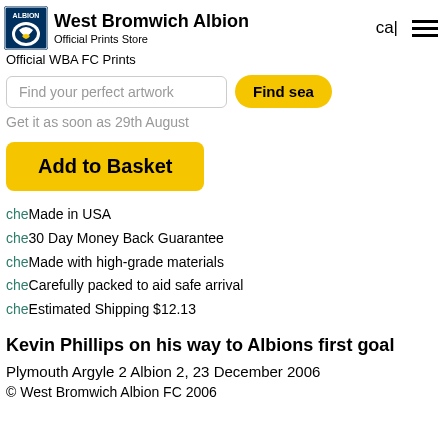West Bromwich Albion Official Prints Store
Official WBA FC Prints
Find your perfect artwork | Find se...
Get it as soon as 29th August
Add to Basket
cheMade in USA
che30 Day Money Back Guarantee
cheMade with high-grade materials
cheCarefully packed to aid safe arrival
cheEstimated Shipping $12.13
Kevin Phillips on his way to Albions first goal
Plymouth Argyle 2 Albion 2, 23 December 2006
© West Bromwich Albion FC 2006